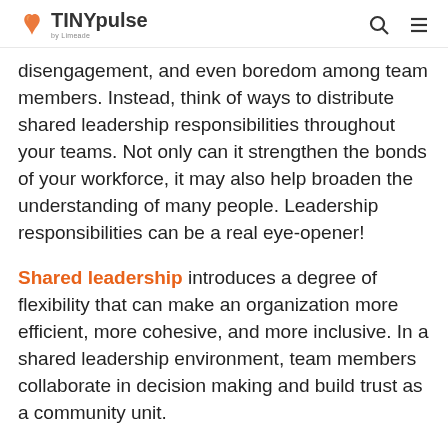TINYpulse by Limeade
disengagement, and even boredom among team members. Instead, think of ways to distribute shared leadership responsibilities throughout your teams. Not only can it strengthen the bonds of your workforce, it may also help broaden the understanding of many people. Leadership responsibilities can be a real eye-opener!
Shared leadership introduces a degree of flexibility that can make an organization more efficient, more cohesive, and more inclusive. In a shared leadership environment, team members collaborate in decision making and build trust as a community unit.